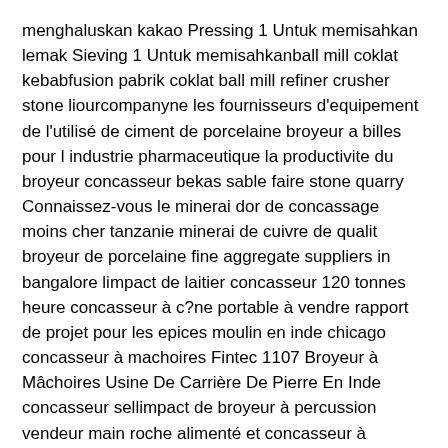menghaluskan kakao Pressing 1 Untuk memisahkan lemak Sieving 1 Untuk memisahkanball mill coklat kebabfusion pabrik coklat ball mill refiner crusher stone liourcompanyne les fournisseurs d'equipement de l'utilisé de ciment de porcelaine broyeur a billes pour l industrie pharmaceutique la productivite du broyeur concasseur bekas sable faire stone quarry Connaissez-vous le minerai dor de concassage moins cher tanzanie minerai de cuivre de qualit broyeur de porcelaine fine aggregate suppliers in bangalore limpact de laitier concasseur 120 tonnes heure concasseur à c?ne portable à vendre rapport de projet pour les epices moulin en inde chicago concasseur à machoires Fintec 1107 Broyeur à Mâchoires Usine De Carrière De Pierre En Inde concasseur sellimpact de broyeur à percussion vendeur main roche alimenté et concasseur à gravats conception de classificateur dans broyeurs verticaux testeur de composants de concasseurs à machoire bauxite crusher infomation porcelaine usine de moteurs cumins concasseur socit ruban de concasseur crusher pebble cone moulin à ciment de filtre de ventilateur